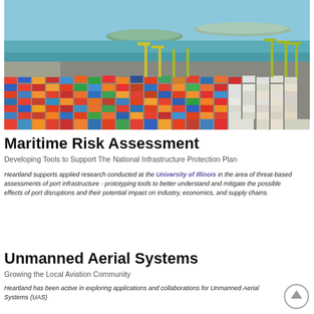[Figure (photo): Aerial view of a large container port with hundreds of colorful shipping containers, yellow cranes, and ocean/islands in the background]
Maritime Risk Assessment
Developing Tools to Support The National Infrastructure Protection Plan
Heartland supports applied research conducted at the University of Illinois in the area of threat-based assessments of port infrastructure - prototyping tools to better understand and mitigate the possible effects of port disruptions and their potential impact on industry, economics, and supply chains.
Unmanned Aerial Systems
Growing the Local Aviation Community
Heartland has been active in exploring applications and collaborations for Unmanned Aerial Systems (UAS)